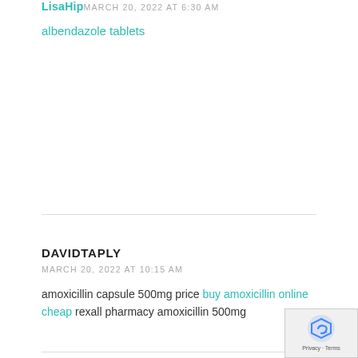LisaHip MARCH 20, 2022 AT 6:30 AM
albendazole tablets
DAVIDTAPLY
MARCH 20, 2022 AT 10:15 AM
amoxicillin capsule 500mg price buy amoxicillin online cheap rexall pharmacy amoxicillin 500mg